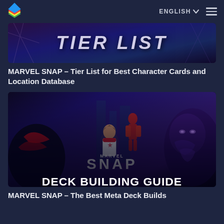ENGLISH
[Figure (screenshot): Marvel Snap Tier List banner image with dark purple/blue background and stylized text 'TIER LIST' in large italic font]
MARVEL SNAP – Tier List for Best Character Cards and Location Database
[Figure (screenshot): Marvel Snap Deck Building Guide thumbnail showing Marvel characters including Venom, Iron Man, Ms. Marvel, and Black Panther with text 'SNAP DECK BUILDING GUIDE']
MARVEL SNAP – The Best Meta Deck Builds